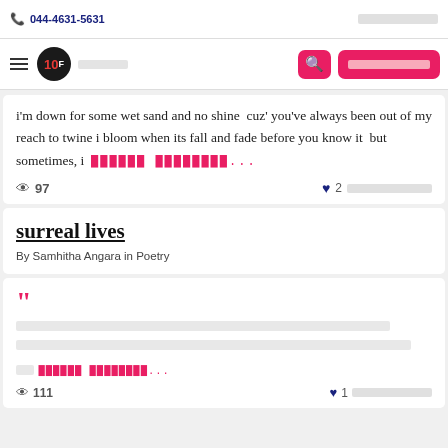044-4631-5631
i'm down for some wet sand and no shine  cuz' you've always been out of my reach to twine i bloom when its fall and fade before you know it  but sometimes, i  [continue reading...]
97 views  2 likes
surreal lives
By Samhitha Angara in Poetry
[quote] [redacted text] [continue reading...]
111 views  1 like